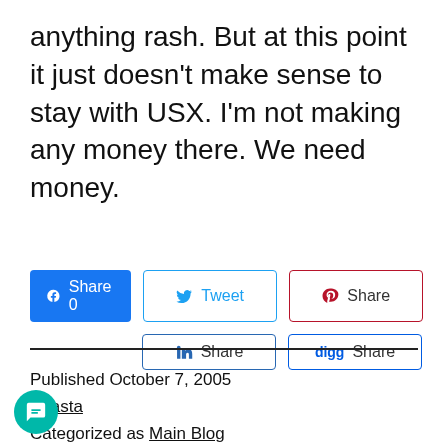anything rash. But at this point it just doesn't make sense to stay with USX. I'm not making any money there. We need money.
[Figure (screenshot): Social sharing buttons: Facebook Share 0, Twitter Tweet, Pinterest Share, LinkedIn Share, Digg Share]
Published October 7, 2005
vicasta
Categorized as Main Blog